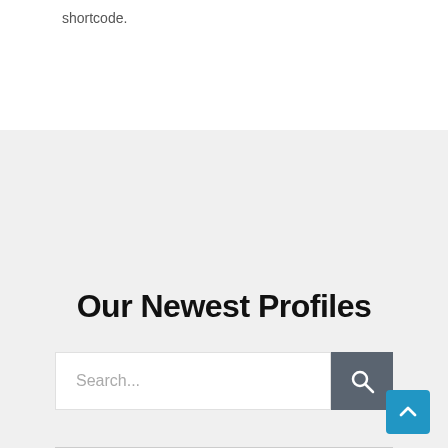shortcode.
Our Newest Profiles
Search...
Lebanon Paving Pros
Paving contractor
Lebanon, PA
Paving Contractor